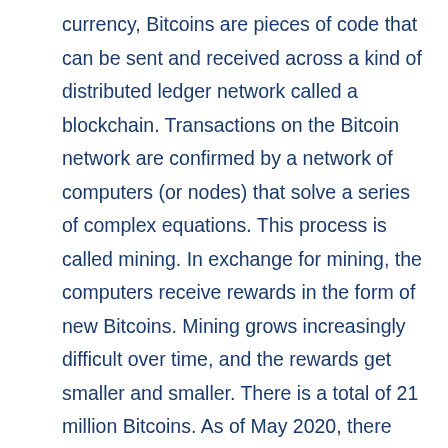currency, Bitcoins are pieces of code that can be sent and received across a kind of distributed ledger network called a blockchain. Transactions on the Bitcoin network are confirmed by a network of computers (or nodes) that solve a series of complex equations. This process is called mining. In exchange for mining, the computers receive rewards in the form of new Bitcoins. Mining grows increasingly difficult over time, and the rewards get smaller and smaller. There is a total of 21 million Bitcoins. As of May 2020, there are 18.3 million Bitcoins in circulation. This number changes approximately every 10 minutes when new blocks are mined. Presently, each new block adds 12.5 bitcoins into circulation.Since its inception, Bitcoin has remained the most popular and largest cryptocurrency in terms of market cap in the world. Bitcoin's popularity has contributed significantly to the release of thousands of other cryptocurrencies, called